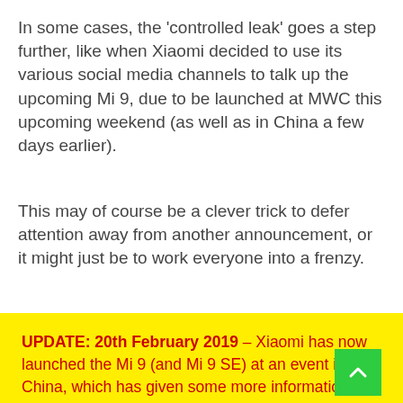In some cases, the 'controlled leak' goes a step further, like when Xiaomi decided to use its various social media channels to talk up the upcoming Mi 9, due to be launched at MWC this upcoming weekend (as well as in China a few days earlier).
This may of course be a clever trick to defer attention away from another announcement, or it might just be to work everyone into a frenzy.
UPDATE: 20th February 2019 – Xiaomi has now launched the Mi 9 (and Mi 9 SE) at an event in China, which has given some more information that I've added below. In addition to this update, the UK PR has confirmed a short while ago that there are more product announcements at MWC to come!